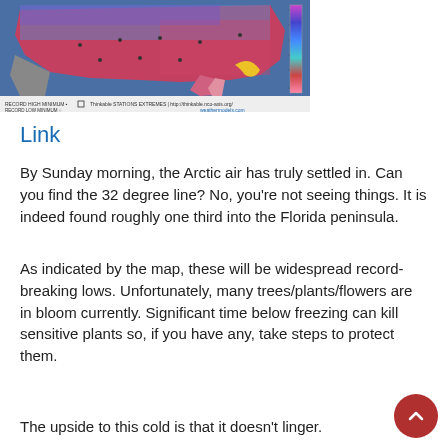[Figure (map): Temperature map of the United States showing Arctic air incursion with record-breaking low minimum temperatures. The map uses a color scale from blue/purple (coldest) to red/pink (warmest). Station extremes are marked with squares and circles for record high minimum and record low minimum respectively. Source: weathermodels.com]
Link
By Sunday morning, the Arctic air has truly settled in. Can you find the 32 degree line? No, you're not seeing things. It is indeed found roughly one third into the Florida peninsula.
As indicated by the map, these will be widespread record-breaking lows. Unfortunately, many trees/plants/flowers are in bloom currently. Significant time below freezing can kill sensitive plants so, if you have any, take steps to protect them.
The upside to this cold is that it doesn't linger.